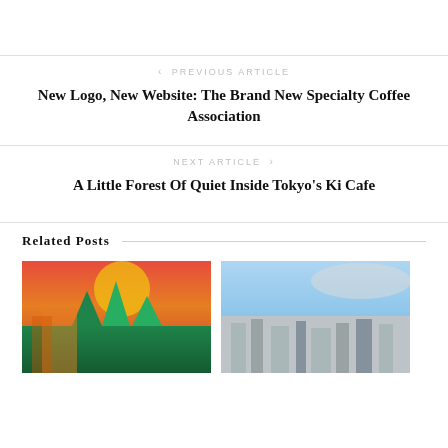< PREVIOUS ARTICLE
New Logo, New Website: The Brand New Specialty Coffee Association
NEXT ARTICLE >
A Little Forest Of Quiet Inside Tokyo's Ki Cafe
Related Posts
[Figure (photo): Mural painting with red/orange sky and green trees]
[Figure (photo): Aerial cityscape view under blue sky]